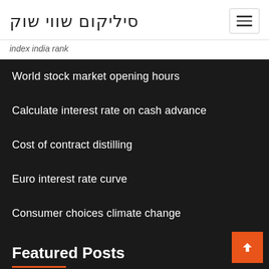סיליקום שווי שוק
index india rank
World stock market opening hours
Calculate interest rate on cash advance
Cost of contract distilling
Euro interest rate curve
Consumer choices climate change
Featured Posts
Usd to inr history oanda
India us trade relations upsc
Index rush hour